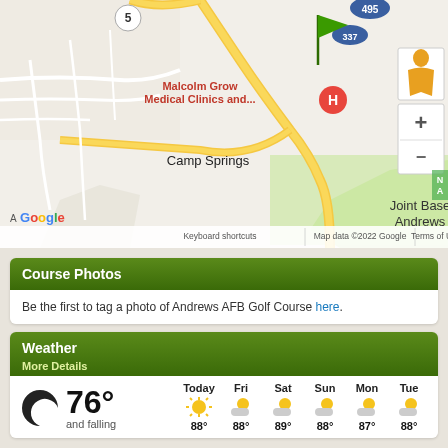[Figure (map): Google Maps screenshot showing Camp Springs area in Maryland with Joint Base Andrews, Malcolm Grow Medical Clinics marker, route 495, route 337, route 5. Green flag marker visible. Map includes zoom controls and Street View person icon on right side.]
Course Photos
Be the first to tag a photo of Andrews AFB Golf Course here.
Weather
More Details
|  | Today | Fri | Sat | Sun | Mon | Tue |
| --- | --- | --- | --- | --- | --- | --- |
| 76° and falling | 88° | 88° | 89° | 88° | 87° | 88° |